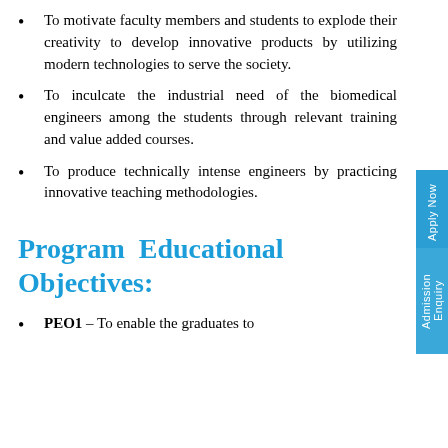To motivate faculty members and students to explode their creativity to develop innovative products by utilizing modern technologies to serve the society.
To inculcate the industrial need of the biomedical engineers among the students through relevant training and value added courses.
To produce technically intense engineers by practicing innovative teaching methodologies.
Program Educational Objectives:
PEO1 – To enable the graduates to